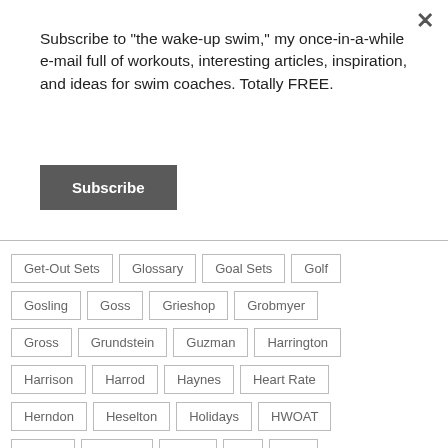Subscribe to "the wake-up swim," my once-in-a-while e-mail full of workouts, interesting articles, inspiration, and ideas for swim coaches. Totally FREE.
Subscribe
Get-Out Sets
Glossary
Goal Sets
Golf
Gosling
Goss
Grieshop
Grobmyer
Gross
Grundstein
Guzman
Harrington
Harrison
Harrod
Haynes
Heart Rate
Herndon
Heselton
Holidays
HWOAT
Hybrid
Hypoxic
Ideas
IM
IMX
In-Water Strength
Instagram
Jacobs